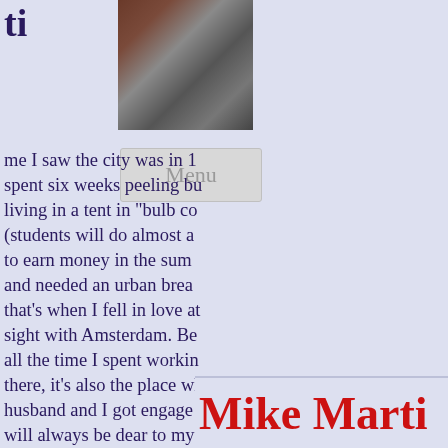[Figure (photo): Partial street photo visible at top right of page]
ti
me I saw the city was in 1... spent six weeks peeling bu... living in a tent in “bulb co... (students will do almost a... to earn money in the sum... and needed an urban brea... that’s when I fell in love at sight with Amsterdam. Be... all the time I spent workin... there, it’s also the place wh... husband and I got engage... will always be dear to my h... for that reason, too.
Mike Marti...